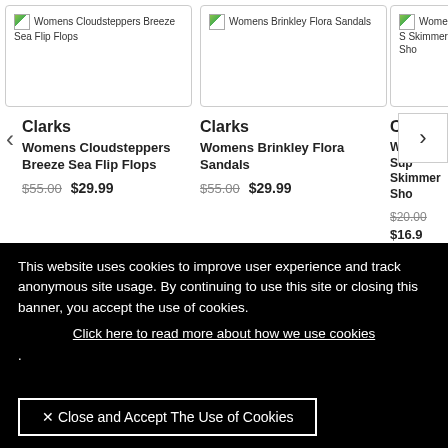[Figure (screenshot): Product card image: Womens Cloudsteppers Breeze Sea Flip Flops]
[Figure (screenshot): Product card image: Womens Brinkley Flora Sandals]
[Figure (screenshot): Product card image: Womens S Skimmer Sho (partially visible)]
Clarks
Womens Cloudsteppers Breeze Sea Flip Flops
$55.00 $29.99
Clarks
Womens Brinkley Flora Sandals
$55.00 $29.99
Count
Womens Sup Skimmer Sho
$20.00 $16.9
This website uses cookies to improve user experience and track anonymous site usage. By continuing to use this site or closing this banner, you accept the use of cookies.
Click here to read more about how we use cookies
.
X Close and Accept The Use of Cookies